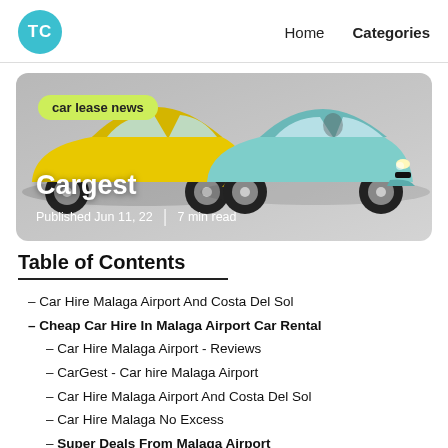TC   Home   Categories
[Figure (photo): Hero image with a yellow Fiat 500 Abarth on the left and a teal Fiat 500 on the right, on a grey background. Badge reads 'car lease news'. Title 'Cargest'. Meta: Published Jun 11, 22 | 7 min read.]
Table of Contents
– Car Hire Malaga Airport And Costa Del Sol
– Cheap Car Hire In Malaga Airport Car Rental
– Car Hire Malaga Airport - Reviews
– CarGest - Car hire Malaga Airport
– Car Hire Malaga Airport And Costa Del Sol
– Car Hire Malaga No Excess
– Super Deals From Malaga Airport